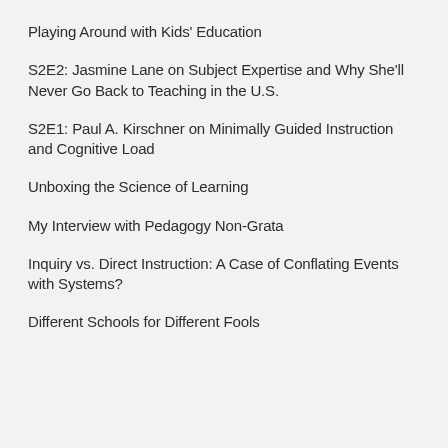Playing Around with Kids' Education
S2E2: Jasmine Lane on Subject Expertise and Why She'll Never Go Back to Teaching in the U.S.
S2E1: Paul A. Kirschner on Minimally Guided Instruction and Cognitive Load
Unboxing the Science of Learning
My Interview with Pedagogy Non-Grata
Inquiry vs. Direct Instruction: A Case of Conflating Events with Systems?
Different Schools for Different Fools